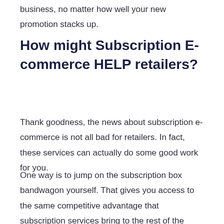business, no matter how well your new promotion stacks up.
How might Subscription E-commerce HELP retailers?
Thank goodness, the news about subscription e-commerce is not all bad for retailers. In fact, these services can actually do some good work for you.
One way is to jump on the subscription box bandwagon yourself. That gives you access to the same competitive advantage that subscription services bring to the rest of the marketplace: